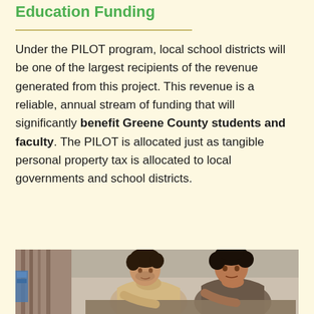Education Funding
Under the PILOT program, local school districts will be one of the largest recipients of the revenue generated from this project. This revenue is a reliable, annual stream of funding that will significantly benefit Greene County students and faculty. The PILOT is allocated just as tangible personal property tax is allocated to local governments and school districts.
[Figure (photo): Two men leaning over a work surface in an industrial or workshop setting, examining something together. Both have dark hair; one wears a light jacket and the other a dark jacket.]